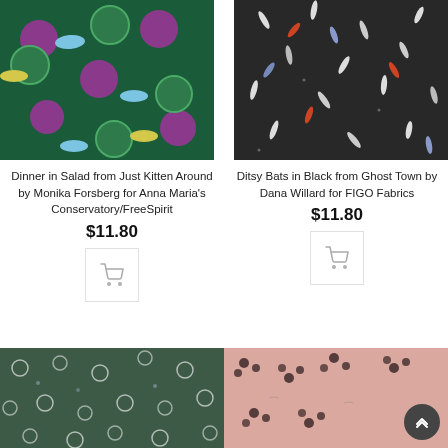[Figure (photo): Teal/green fabric with purple circles and colorful fish pattern - Dinner in Salad]
[Figure (photo): Dark/black fabric with colorful ditsy bat shapes - Ditsy Bats in Black]
Dinner in Salad from Just Kitten Around by Monika Forsberg for Anna Maria's Conservatory/FreeSpirit
$11.80
[Figure (other): Shopping cart button]
Ditsy Bats in Black from Ghost Town by Dana Willard for FIGO Fabrics
$11.80
[Figure (other): Shopping cart button]
[Figure (photo): Dark green fabric with small white ring/circle floral pattern]
[Figure (photo): Pink fabric with dark scattered berry/dot pattern and text]